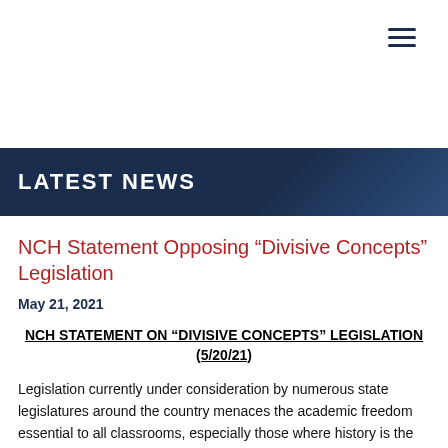LATEST NEWS
NCH Statement Opposing “Divisive Concepts” Legislation
May 21, 2021
NCH STATEMENT ON “DIVISIVE CONCEPTS” LEGISLATION (5/20/21)
Legislation currently under consideration by numerous state legislatures around the country menaces the academic freedom essential to all classrooms, especially those where history is the focus of discussion and debate. The National Coalition for